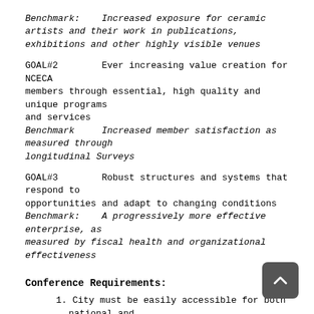Benchmark:    Increased exposure for ceramic artists and their work in publications, exhibitions and other highly visible venues
GOAL#2        Ever increasing value creation for NCECA members through essential, high quality and unique programs and services
Benchmark     Increased member satisfaction as measured through longitudinal Surveys
GOAL#3        Robust structures and systems that respond to opportunities and adapt to changing conditions
Benchmark:    A progressively more effective enterprise, as measured by fiscal health and organizational effectiveness
Conference Requirements:
1. City must be easily accessible for both national and international attendees.
2. Availability of art exhibition venues is essential.  Besides